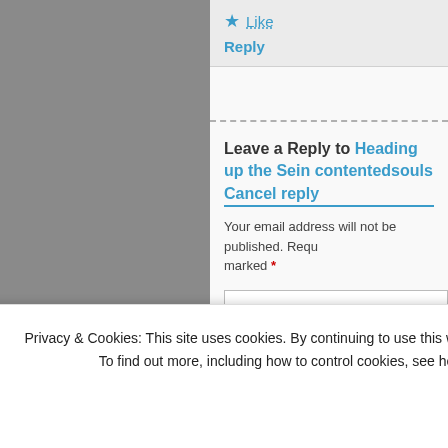Like
Reply
Leave a Reply to Heading up the Seine contentedsouls Cancel reply
Your email address will not be published. Required fields are marked *
Privacy & Cookies: This site uses cookies. By continuing to use this website, you agree to their use. To find out more, including how to control cookies, see here: Cookie Policy
Close and accept